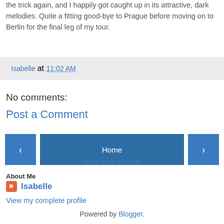the trick again, and I happily got caught up in its attractive, dark melodies. Quite a fitting good-bye to Prague before moving on to Berlin for the final leg of my tour.
Isabelle at 11:02 AM
No comments:
Post a Comment
[Figure (other): Navigation buttons: left arrow, Home, right arrow]
View web version
About Me
Isabelle
View my complete profile
Powered by Blogger.